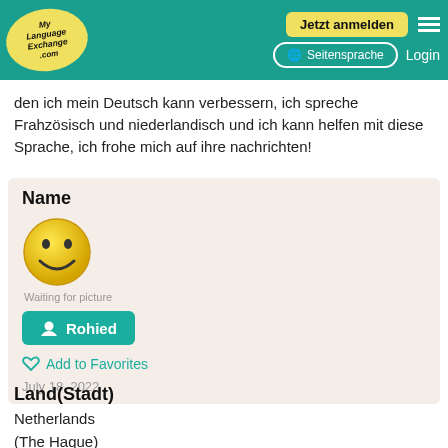My Language Exchange .com | Jetzt anmelden | Seitensprache | Login
den ich mein Deutsch kann verbessern, ich spreche Frahzösisch und niederlandisch und ich kann helfen mit diese Sprache, ich frohe mich auf ihre nachrichten!
Name
[Figure (illustration): Yellow smiley face placeholder image with text 'Waiting for picture' below]
Rohied
Add to Favorites
July 18, 2022
Land(Stadt)
Netherlands
(The Hague)